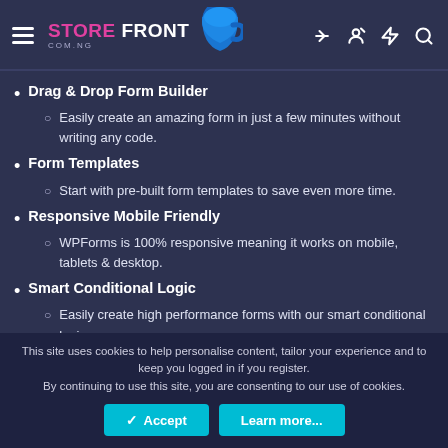STORE FRONT COM.NG — header with hamburger menu and icons
Drag & Drop Form Builder
Easily create an amazing form in just a few minutes without writing any code.
Form Templates
Start with pre-built form templates to save even more time.
Responsive Mobile Friendly
WPForms is 100% responsive meaning it works on mobile, tablets & desktop.
Smart Conditional Logic
Easily create high performance forms with our smart conditional logic.
Instant Notifications
This site uses cookies to help personalise content, tailor your experience and to keep you logged in if you register. By continuing to use this site, you are consenting to our use of cookies.